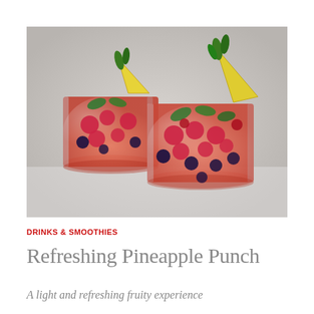[Figure (photo): Two glass tumblers filled with a pinkish-orange fruit punch drink, containing raspberries, blueberries, mint leaves, and garnished with pineapple wedges on the rim. The drinks are set on a white wooden surface.]
DRINKS & SMOOTHIES
Refreshing Pineapple Punch
A light and refreshing fruity experience